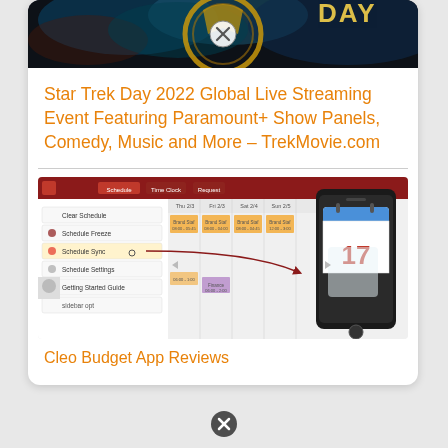[Figure (screenshot): Star Trek Day 2022 dark themed banner image with gold circular emblem and 'DAY' text visible, with a circular close/X button overlay]
Star Trek Day 2022 Global Live Streaming Event Featuring Paramount+ Show Panels, Comedy, Music and More – TrekMovie.com
[Figure (screenshot): Screenshot of a scheduling/calendar web application showing a weekly schedule grid with employee shifts, a dropdown menu open with options like Clear Schedule, Schedule Freeze, Schedule Sync, Schedule Settings, Getting Started Guide, alongside a mobile phone showing a calendar app icon with date 17]
Cleo Budget App Reviews
[Figure (other): Circular close/X button at the bottom of the page]